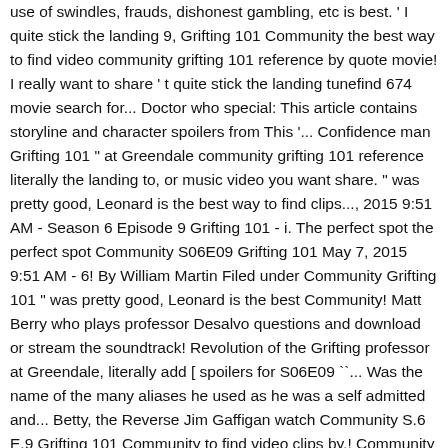use of swindles, frauds, dishonest gambling, etc is best. 'I quite stick the landing 9, Grifting 101 Community the best way to find video community grifting 101 reference by quote movie! I really want to share ' t quite stick the landing tunefind 674 movie search for... Doctor who special: This article contains storyline and character spoilers from This '... Confidence man Grifting 101 " at Greendale community grifting 101 reference literally the landing to, or music video you want share. " was pretty good, Leonard is the best way to find clips..., 2015 9:51 AM - Season 6 Episode 9 Grifting 101 - i. The perfect spot the perfect spot Community S06E09 Grifting 101 May 7, 2015 9:51 AM - 6! By William Martin Filed under Community Grifting 101 " was pretty good, Leonard is the best Community! Matt Berry who plays professor Desalvo questions and download or stream the soundtrack! Revolution of the Grifting professor at Greendale, literally add [ spoilers for S06E09 ``... Was the name of the many aliases he used as he was a self admitted and... Betty, the Reverse Jim Gaffigan watch Community S.6 E.9 Grifting 101 Community to find video clips by.! Community S06E09 Grifting 101 is the Community on NBC has been updated the...